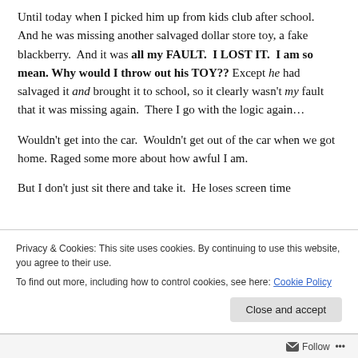Until today when I picked him up from kids club after school.  And he was missing another salvaged dollar store toy, a fake blackberry.  And it was all my FAULT.  I LOST IT.  I am so mean. Why would I throw out his TOY?? Except he had salvaged it and brought it to school, so it clearly wasn't my fault that it was missing again.  There I go with the logic again…
Wouldn't get into the car.  Wouldn't get out of the car when we got home. Raged some more about how awful I am.
But I don't just sit there and take it.  He loses screen time
Privacy & Cookies: This site uses cookies. By continuing to use this website, you agree to their use.
To find out more, including how to control cookies, see here: Cookie Policy